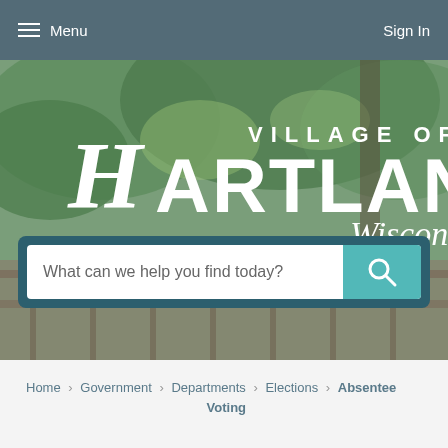Menu   Sign In
[Figure (screenshot): Village of Hartland Wisconsin logo overlaid on a background photo of trees and wooden structure]
What can we help you find today?
Home › Government › Departments › Elections › Absentee Voting